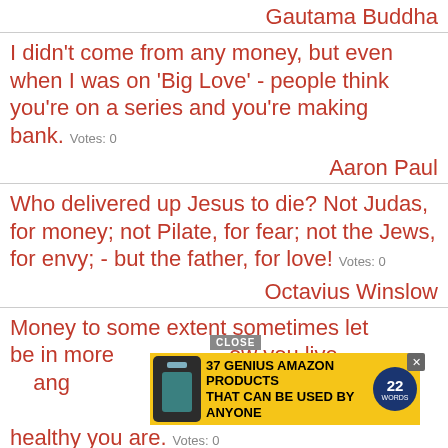Gautama Buddha
I didn't come from any money, but even when I was on 'Big Love' - people think you're on a series and you're making bank.  Votes: 0
Aaron Paul
Who delivered up Jesus to die? Not Judas, for money; not Pilate, for fear; not the Jews, for envy; - but the father, for love!  Votes: 0
Octavius Winslow
Money to some extent sometimes lets you be in more ... that changes ... healthy you are.  Votes: 0
[Figure (other): Advertisement overlay: '37 GENIUS AMAZON PRODUCTS THAT CAN BE USED BY ANYONE' with product bottle image and 22 Words badge, with CLOSE button]